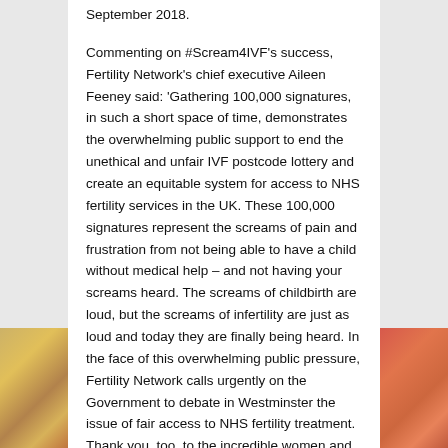September 2018.
Commenting on #Scream4IVF's success, Fertility Network's chief executive Aileen Feeney said: 'Gathering 100,000 signatures, in such a short space of time, demonstrates the overwhelming public support to end the unethical and unfair IVF postcode lottery and create an equitable system for access to NHS fertility services in the UK. These 100,000 signatures represent the screams of pain and frustration from not being able to have a child without medical help – and not having your screams heard. The screams of childbirth are loud, but the screams of infertility are just as loud and today they are finally being heard. In the face of this overwhelming public pressure, Fertility Network calls urgently on the Government to debate in Westminster the issue of fair access to NHS fertility treatment. Thank you, too, to the incredible women and men who have shared their #Scream4IVF and made their infertility voices heard. We are stronger together.'
Steve McCabe MP (Birmingham Selly Oak) said: 'I am